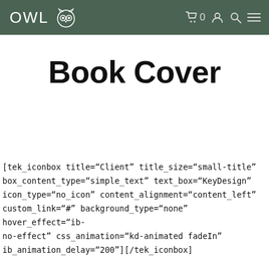OWL [logo] | cart 0 | account | search | menu
Book Cover
[tek_iconbox title="Client" title_size="small-title" box_content_type="simple_text" text_box="KeyDesign" icon_type="no_icon" content_alignment="content_left" custom_link="#" background_type="none" hover_effect="ib-no-effect" css_animation="kd-animated fadeIn" ib_animation_delay="200"][/tek_iconbox]